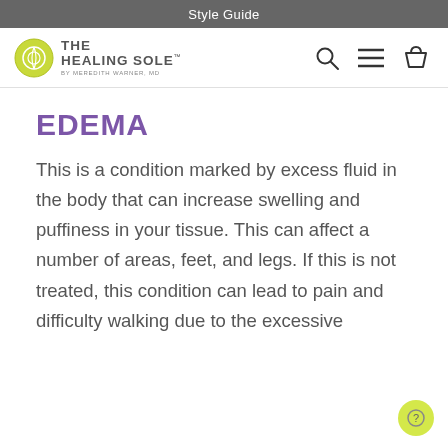Style Guide
[Figure (logo): The Healing Sole logo by Meredith Warner, MD with navigation icons (search, menu, cart)]
EDEMA
This is a condition marked by excess fluid in the body that can increase swelling and puffiness in your tissue. This can affect a number of areas, feet, and legs. If this is not treated, this condition can lead to pain and difficulty walking due to the excessive